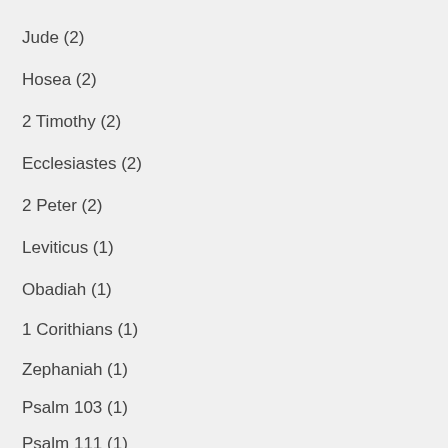Jude (2)
Hosea (2)
2 Timothy (2)
Ecclesiastes (2)
2 Peter (2)
Leviticus (1)
Obadiah (1)
1 Corithians (1)
Zephaniah (1)
Psalm 103 (1)
Psalm 111 (1)